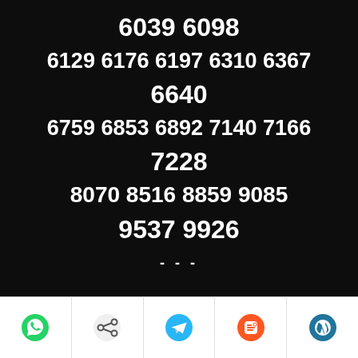6039 6098
6129 6176 6197 6310 6367
6640
6759 6853 6892 7140 7166
7228
8070 8516 8859 9085
9537 9926
---
Social share toolbar with WhatsApp, Share, Telegram, Blogger, WordPress icons